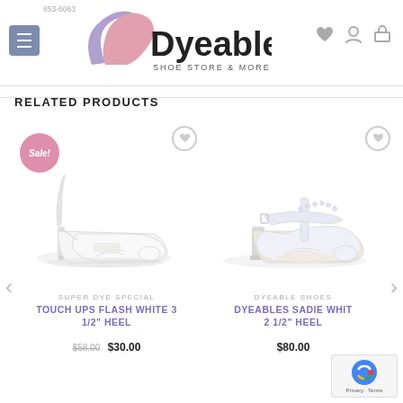[Figure (logo): Dyeable Shoe Store & More logo with stylized high heel icon in purple and pink, navigation menu button, heart, user, and cart icons. Phone number 653-6063 shown.]
RELATED PRODUCTS
[Figure (photo): White peep-toe d'Orsay stiletto heel shoe on white background with Sale! badge]
SUPER DYE SPECIAL
TOUCH UPS FLASH WHITE 3 1/2" HEEL
$58.00  $30.00
[Figure (photo): White satin peep-toe T-strap heeled sandal with rhinestone embellishment on white background]
DYEABLE SHOES
DYEABLES SADIE WHITE 2 1/2" HEEL
$80.00